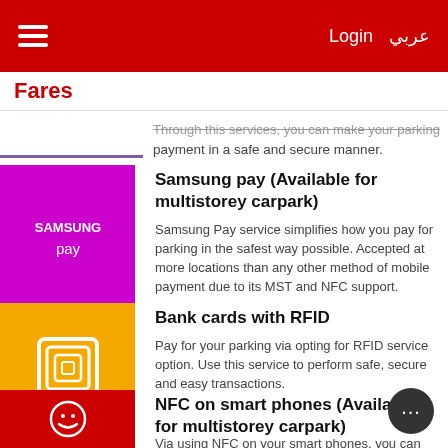Login  عربي
Fares
Through this services, you can make your parking payment in a safe and secure manner.
Samsung pay (Available for multistorey carpark)
Samsung Pay service simplifies how you pay for parking in the safest way possible. Accepted at more locations than any other method of mobile payment due to its MST and NFC support.
Bank cards with RFID
Pay for your parking via opting for RFID service option. Use this service to perform safe, secure and easy transactions.
NFC on smart phones (Available for multistorey carpark)
Via using NFC on your smart phones, you can do a quick, easy and secure transaction, to pay for your parking. Payments are done instantly by just tapping the phone against a POS access points